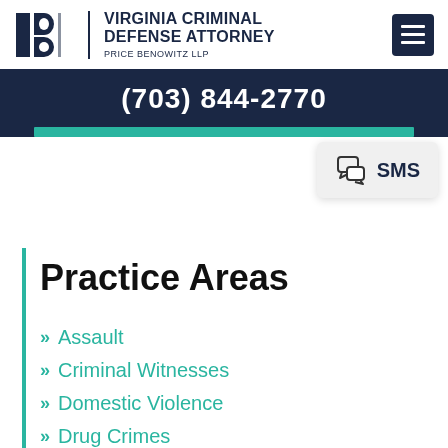VIRGINIA CRIMINAL DEFENSE ATTORNEY PRICE BENOWITZ LLP
(703) 844-2770
[Figure (screenshot): SMS chat icon button popup]
Practice Areas
Assault
Criminal Witnesses
Domestic Violence
Drug Crimes
DUI
Fraud